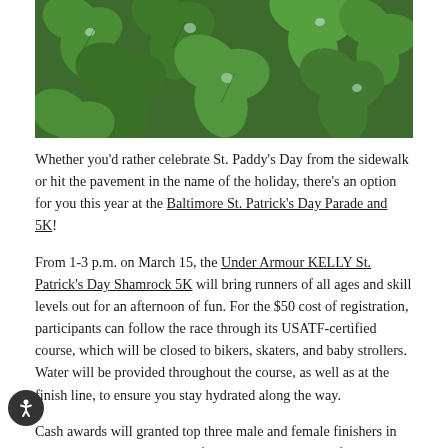[Figure (photo): Close-up photograph of green shamrock/clover leaves with water droplets]
Whether you'd rather celebrate St. Paddy's Day from the sidewalk or hit the pavement in the name of the holiday, there's an option for you this year at the Baltimore St. Patrick's Day Parade and 5K!
From 1-3 p.m. on March 15, the Under Armour KELLY St. Patrick's Day Shamrock 5K will bring runners of all ages and skill levels out for an afternoon of fun. For the $50 cost of registration, participants can follow the race through its USATF-certified course, which will be closed to bikers, skaters, and baby strollers. Water will be provided throughout the course, as well as at the finish line, to ensure you stay hydrated along the way.
Cash awards will granted top three male and female finishers in the open division, and to the first man and woman to finish in the